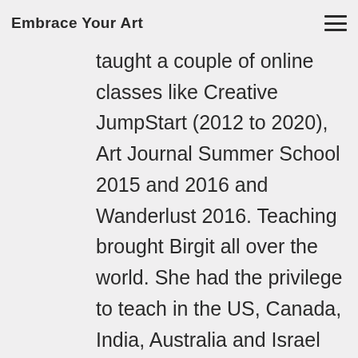Embrace Your Art
and manufacturers and taught a couple of online classes like Creative JumpStart (2012 to 2020), Art Journal Summer School 2015 and 2016 and Wanderlust 2016. Teaching brought Birgit all over the world. She had the privilege to teach in the US, Canada, India, Australia and Israel but also closer to home in France, Belgium, Germany, Denmark, Finland, Norway, Sweden, Austria and the UK.
She loves to travel, see new places, meet people and explore different cultures. She considers it a huge bonus that she is able to combine that with her love of teaching and